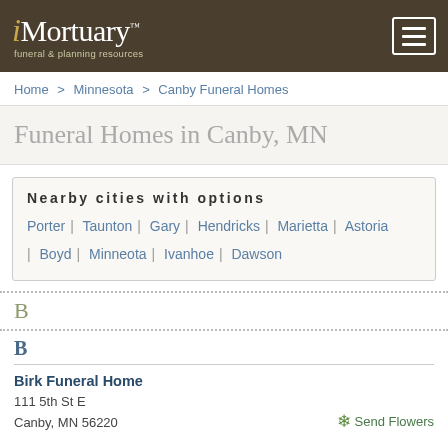iMortuary™ funeral & planning resources
Home > Minnesota > Canby Funeral Homes
Funeral Homes in Canby, MN
Nearby cities with options
Porter | Taunton | Gary | Hendricks | Marietta | Astoria | Boyd | Minneota | Ivanhoe | Dawson
B
B
Birk Funeral Home
111 5th St E
Canby, MN 56220
Send Flowers